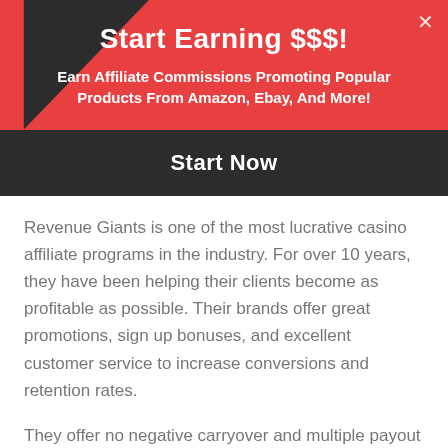Start Earning $$$!
Earn Affiliate Commissions Promoting Popular Products From Amazon, Ebay, And More!
Start Now
Revenue Giants is one of the most lucrative casino affiliate programs in the industry. For over 10 years, they have been helping their clients become as profitable as possible. Their brands offer great promotions, sign up bonuses, and excellent customer service to increase conversions and retention rates.
They offer no negative carryover and multiple payout options. Revenue Giant uses their own